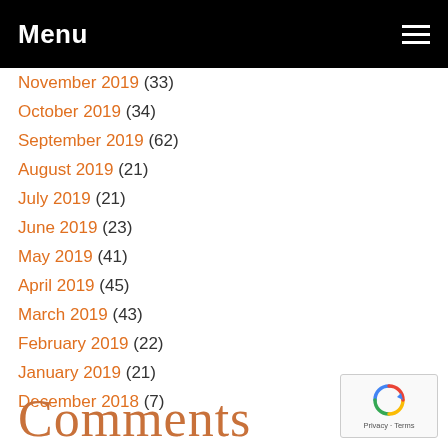Menu
November 2019 (33)
October 2019 (34)
September 2019 (62)
August 2019 (21)
July 2019 (21)
June 2019 (23)
May 2019 (41)
April 2019 (45)
March 2019 (43)
February 2019 (22)
January 2019 (21)
December 2018 (7)
Comments